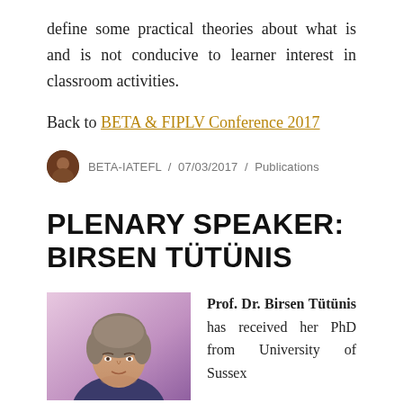define some practical theories about what is and is not conducive to learner interest in classroom activities.
Back to BETA & FIPLV Conference 2017
BETA-IATEFL / 07/03/2017 / Publications
PLENARY SPEAKER: BIRSEN TÜTÜNIS
[Figure (photo): Portrait photo of Prof. Dr. Birsen Tütünis, a woman with short grey-brown hair against a purple background]
Prof. Dr. Birsen Tütünis has received her PhD from University of Sussex